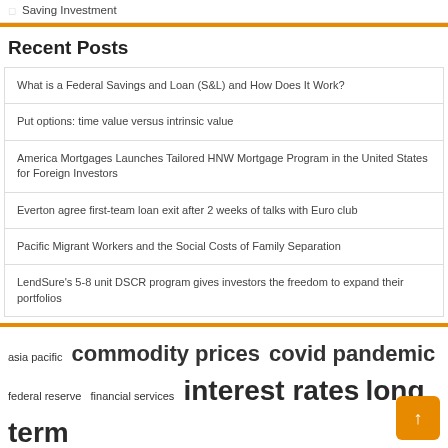Saving Investment
Recent Posts
What is a Federal Savings and Loan (S&L) and How Does It Work?
Put options: time value versus intrinsic value
America Mortgages Launches Tailored HNW Mortgage Program in the United States for Foreign Investors
Everton agree first-team loan exit after 2 weeks of talks with Euro club
Pacific Migrant Workers and the Social Costs of Family Separation
LendSure's 5-8 unit DSCR program gives investors the freedom to expand their portfolios
asia pacific  commodity prices  covid pandemic  federal reserve  financial services  interest rates  long term